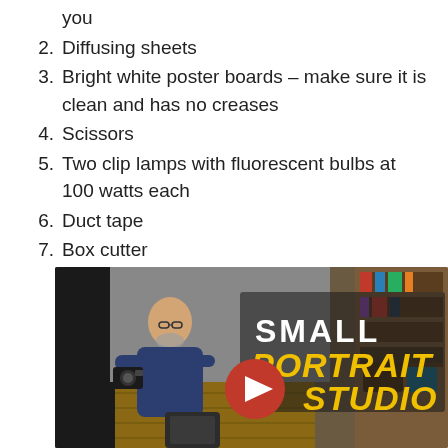you
2. Diffusing sheets
3. Bright white poster boards – make sure it is clean and has no creases
4. Scissors
5. Two clip lamps with fluorescent bulbs at 100 watts each
6. Duct tape
7. Box cutter
[Figure (screenshot): YouTube video thumbnail showing a man holding a camera in a small studio with text overlay reading SMALL PORTRAIT STUDIO and a YouTube play button]